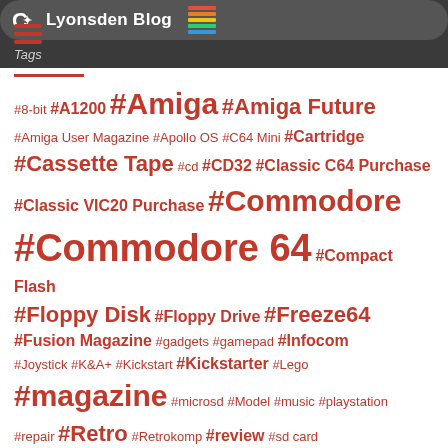Lyonsden Blog
Tags
#8-bit #A1200 #Amiga #Amiga Future #Amiga User Magazine #Apollo OS #C64 Mini #Cartridge #Cassette Tape #cd #CD32 #Classic C64 Purchase #Classic VIC20 Purchase #Commodore #Commodore 64 #Compact Flash #Floppy Disk #Floppy Drive #Freeze64 #Fusion Magazine #gadgets #gamepad #Infocom #Joystick #K&A+ #Kickstart #Kickstarter #Lego #magazine #microsd #Model #music #playstation #repair #Retro #Retrokomp #review #sd card #Text Adventure #Vampire Accelerator #VIC20 #Video Game #wireless #Workbench #ZZap64